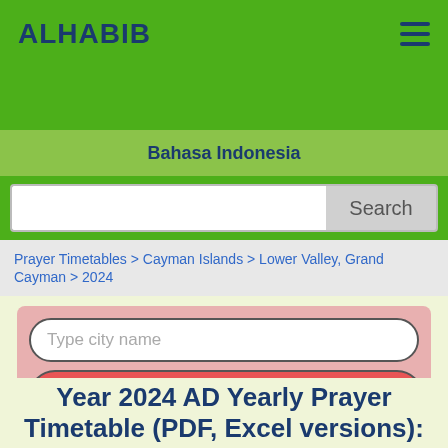ALHABIB
Bahasa Indonesia
Search
Prayer Timetables > Cayman Islands > Lower Valley, Grand Cayman > 2024
Type city name
Find Prayer Timetable
Year 2024 AD Yearly Prayer Timetable (PDF, Excel versions):